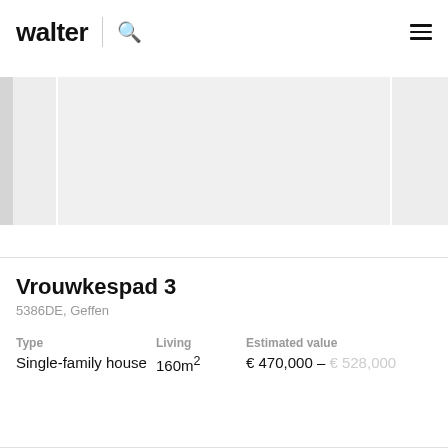walter
[Figure (photo): Property listing image carousel showing a house exterior, partially visible with left and right neighboring image strips in light grey tones]
Vrouwkespad 3
5386DE, Geffen
Type
Single-family house

Living
160m²

Estimated value
€ 470,000 – € 528,000